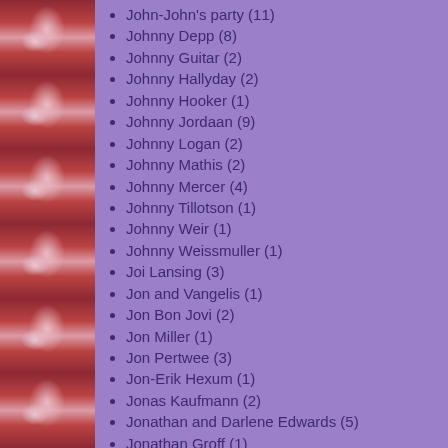[Figure (illustration): Repeated David Bowie Ziggy Stardust face illustration forming a vertical strip on the left side of the page]
John-John's party (11)
Johnny Depp (8)
Johnny Guitar (2)
Johnny Hallyday (2)
Johnny Hooker (1)
Johnny Jordaan (9)
Johnny Logan (2)
Johnny Mathis (2)
Johnny Mercer (4)
Johnny Tillotson (1)
Johnny Weir (1)
Johnny Weissmuller (1)
Joi Lansing (3)
Jon and Vangelis (1)
Jon Bon Jovi (2)
Jon Miller (1)
Jon Pertwee (3)
Jon-Erik Hexum (1)
Jonas Kaufmann (2)
Jonathan and Darlene Edwards (5)
Jonathan Groff (1)
Jonathan Harvey (7)